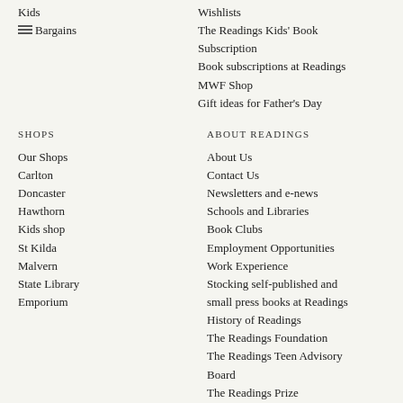Kids
Bargains
Wishlists
The Readings Kids' Book Subscription
Book subscriptions at Readings
MWF Shop
Gift ideas for Father's Day
SHOPS
ABOUT READINGS
Our Shops
About Us
Carlton
Contact Us
Doncaster
Newsletters and e-news
Hawthorn
Schools and Libraries
Kids shop
Book Clubs
St Kilda
Employment Opportunities
Malvern
Work Experience
State Library
Stocking self-published and small press books at Readings
Emporium
History of Readings
The Readings Foundation
The Readings Teen Advisory Board
The Readings Prize
The Readings Podcast